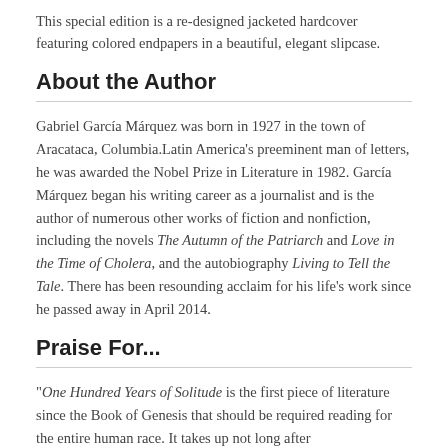This special edition is a re-designed jacketed hardcover featuring colored endpapers in a beautiful, elegant slipcase.
About the Author
Gabriel García Márquez was born in 1927 in the town of Aracataca, Columbia.Latin America's preeminent man of letters, he was awarded the Nobel Prize in Literature in 1982. García Márquez began his writing career as a journalist and is the author of numerous other works of fiction and nonfiction, including the novels The Autumn of the Patriarch and Love in the Time of Cholera, and the autobiography Living to Tell the Tale. There has been resounding acclaim for his life's work since he passed away in April 2014.
Praise For...
"One Hundred Years of Solitude is the first piece of literature since the Book of Genesis that should be required reading for the entire human race. It takes up not long after